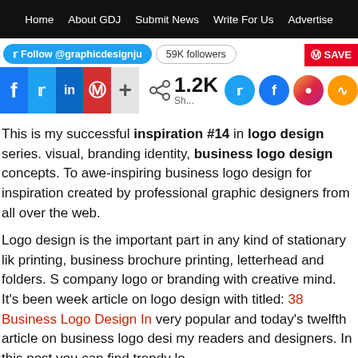Home | About GDJ | Submit News | Write For Us | Advertise
[Figure (screenshot): Social media bar with Twitter follow button showing @graphicdesignju, 59K followers badge, Pinterest SAVE button, and share buttons for Facebook, Twitter, LinkedIn, Pinterest, plus more. Share count shows 1.2K with mini social icons for Twitter, Facebook, Instagram, RSS.]
This is my successful inspiration #14 in logo design series. visual, branding identity, business logo design concepts. To awe-inspiring business logo design for inspiration created by professional graphic designers from all over the web.
Logo design is the important part in any kind of stationary like printing, business brochure printing, letterhead and folders. S company logo or branding with creative mind. It's been week article on logo design with titled: 38 Business Logo Design In very popular and today's twelfth article on business logo desi my readers and designers. In this post you can find trendy lo